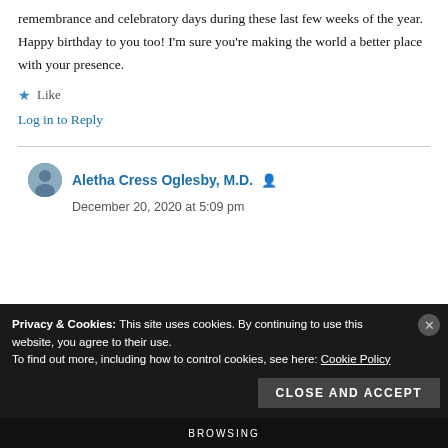I love your explanation of all the different holidays, remembrance and celebratory days during these last few weeks of the year. Happy birthday to you too! I'm sure you're making the world a better place with your presence.
★ Like
Log in to Reply
Aletha Cress Oglesby, M.D. 👤
December 20, 2020 at 5:09 pm
Privacy & Cookies: This site uses cookies. By continuing to use this website, you agree to their use.
To find out more, including how to control cookies, see here: Cookie Policy
Close and accept